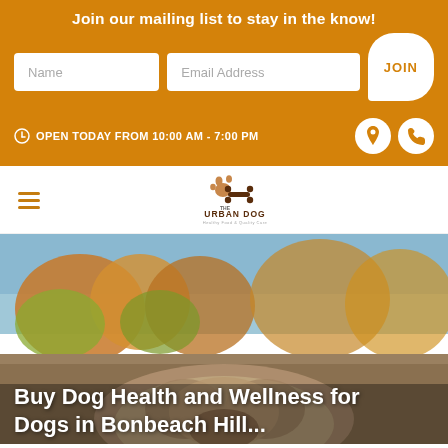Join our mailing list to stay in the know!
Name
Email Address
JOIN
OPEN TODAY FROM 10:00 AM - 7:00 PM
[Figure (logo): The Urban Dog logo with paw print and bone icon, text reads THE URBAN DOG with tagline]
[Figure (photo): Blurred outdoor photo of a dog with autumn trees in background]
Buy Dog Health and Wellness for Dogs in Bonbeach Hill...